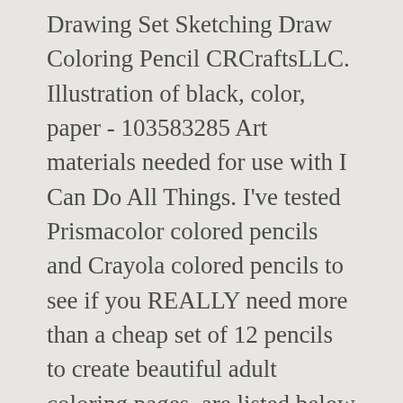Drawing Set Sketching Draw Coloring Pencil CRCraftsLLC. Illustration of black, color, paper - 103583285 Art materials needed for use with I Can Do All Things. I've tested Prismacolor colored pencils and Crayola colored pencils to see if you REALLY need more than a cheap set of 12 pencils to create beautiful adult coloring pages. are listed below for your convenience: US $1.20–$1.80 / Piece 50 Pieces (Min. Perfect for all types of coloring pages, including intricate adult coloring pages Have you ever looked up the price of a set of Caran D'ache Luminance Colored Pencils? These technologies are used for things like: We do this with social media, marketing, and analytics